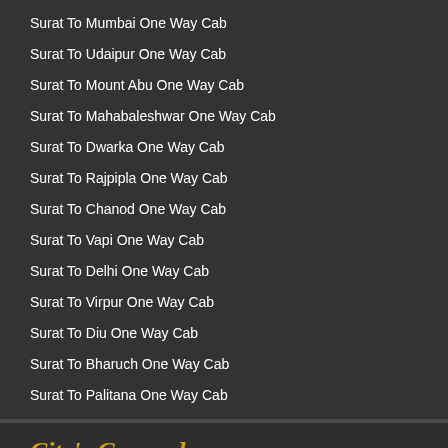Surat To Mumbai One Way Cab
Surat To Udaipur One Way Cab
Surat To Mount Abu One Way Cab
Surat To Mahabaleshwar One Way Cab
Surat To Dwarka One Way Cab
Surat To Rajpipla One Way Cab
Surat To Chanod One Way Cab
Surat To Vapi One Way Cab
Surat To Delhi One Way Cab
Surat To Virpur One Way Cab
Surat To Diu One Way Cab
Surat To Bharuch One Way Cab
Surat To Palitana One Way Cab
City's Covered
Agra Taxi  |  Ahmedabad Taxi  |  Ajmer Taxi  |